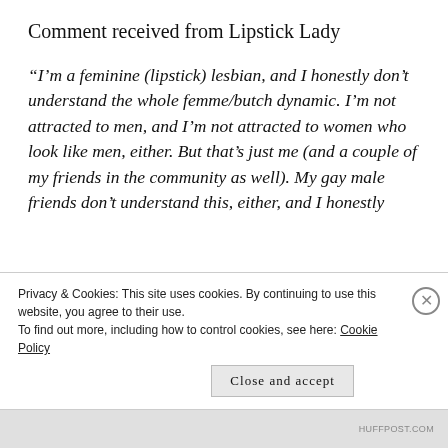Comment received from Lipstick Lady
“I’m a feminine (lipstick) lesbian, and I honestly don’t understand the whole femme/butch dynamic. I’m not attracted to men, and I’m not attracted to women who look like men, either. But that’s just me (and a couple of my friends in the community as well). My gay male friends don’t understand this, either, and I honestly
Privacy & Cookies: This site uses cookies. By continuing to use this website, you agree to their use.
To find out more, including how to control cookies, see here: Cookie Policy
Close and accept